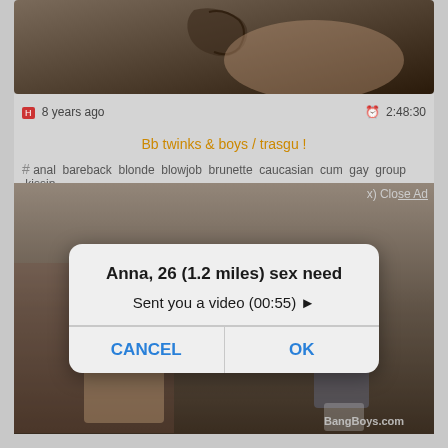[Figure (screenshot): Top portion of a video thumbnail showing a tattoo on skin, dark tones]
8 years ago   2:48:30
Bb twinks & boys / trasgu !
# anal bareback blonde blowjob brunette caucasian cum gay group kissin...
[Figure (screenshot): Video thumbnail showing two males outdoors, one seated shirtless, one standing in shorts. Overlay ad dialog: 'Anna, 26 (1.2 miles) sex need / Sent you a video (00:55) ▶' with CANCEL and OK buttons. BangBoys.com watermark.]